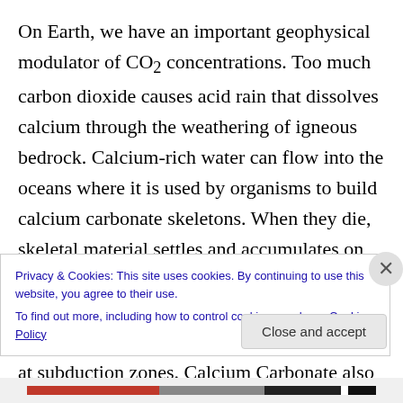On Earth, we have an important geophysical modulator of CO2 concentrations. Too much carbon dioxide causes acid rain that dissolves calcium through the weathering of igneous bedrock. Calcium-rich water can flow into the oceans where it is used by organisms to build calcium carbonate skeletons. When they die, skeletal material settles and accumulates on the ocean floor. Because of plate tectonics, the ocean floor moves outwards from ocean ridges to be consumed by the Earth's mantle at subduction zones. Calcium Carbonate also moves along, is subducted into the mantle, releases carbon dioxide in
Privacy & Cookies: This site uses cookies. By continuing to use this website, you agree to their use. To find out more, including how to control cookies, see here: Cookie Policy
Close and accept